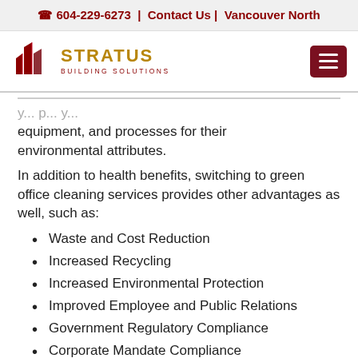☎ 604-229-6273 | Contact Us | Vancouver North
[Figure (logo): Stratus Building Solutions logo with stylized building silhouette and text]
equipment, and processes for their environmental attributes.
In addition to health benefits, switching to green office cleaning services provides other advantages as well, such as:
Waste and Cost Reduction
Increased Recycling
Increased Environmental Protection
Improved Employee and Public Relations
Government Regulatory Compliance
Corporate Mandate Compliance